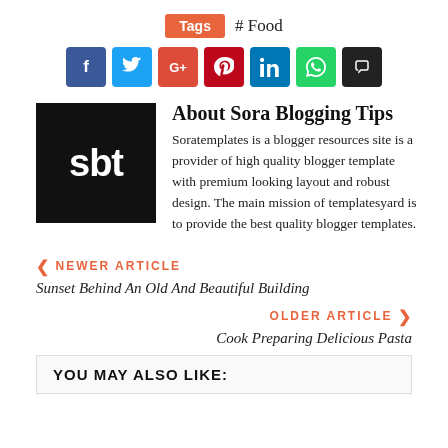Tags  # Food
[Figure (infographic): Social share buttons: Facebook (blue), Twitter (light blue), Google+ (red-orange), Pinterest (dark red), LinkedIn (blue), WhatsApp (green), Print (black)]
[Figure (logo): SBT logo - black square with white lowercase letters 'sbt']
About Sora Blogging Tips
Soratemplates is a blogger resources site is a provider of high quality blogger template with premium looking layout and robust design. The main mission of templatesyard is to provide the best quality blogger templates.
❮ NEWER ARTICLE
Sunset Behind An Old And Beautiful Building
OLDER ARTICLE ❯
Cook Preparing Delicious Pasta
YOU MAY ALSO LIKE: